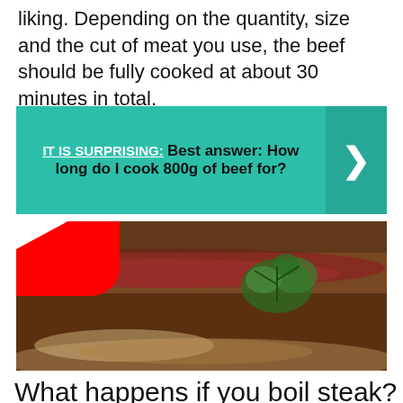liking. Depending on the quantity, size and the cut of meat you use, the beef should be fully cooked at about 30 minutes in total.
IT IS SURPRISING: Best answer: How long do I cook 800g of beef for?
[Figure (photo): A cooked beef steak garnished with fresh green herbs on a plate, with a YouTube play button overlay in the center.]
What happens if you boil steak?